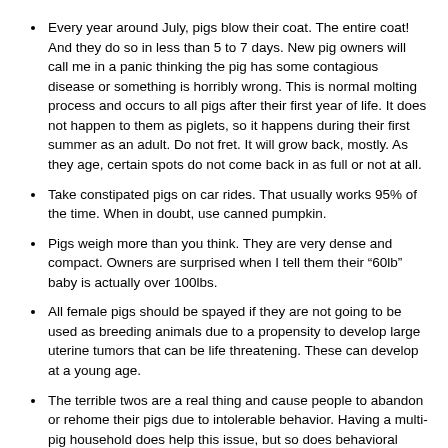Every year around July, pigs blow their coat. The entire coat!  And they do so in less than 5 to 7 days.  New pig owners will call me in a panic thinking the pig has some contagious disease or something is horribly wrong.  This is normal molting process and occurs to all pigs after their first year of life.  It does not happen to them as piglets, so it happens during their first summer as an adult.  Do not fret.  It will grow back, mostly.  As they age, certain spots do not come back in as full or not at all.
Take constipated pigs on car rides. That usually works 95% of the time.  When in doubt, use canned pumpkin.
Pigs weigh more than you think. They are very dense and compact.  Owners are surprised when I tell them their "60lb" baby is actually over 100lbs.
All female pigs should be spayed if they are not going to be used as breeding animals due to a propensity to develop large uterine tumors that can be life threatening. These can develop at a young age.
The terrible twos are a real thing and cause people to abandon or rehome their pigs due to intolerable behavior. Having a multi-pig household does help this issue, but so does behavioral correction. These animals are VERY smart.  They are about as smart as a 2-year old child.  If your 2 year old bit you, what would you do?